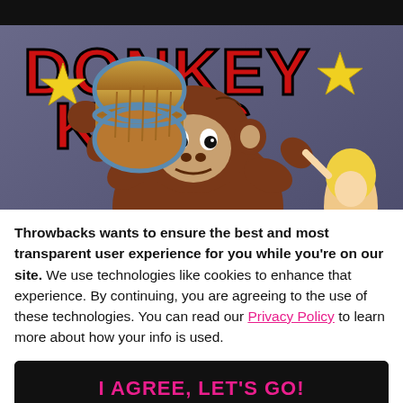[Figure (illustration): Donkey Kong cartoon video game artwork showing the gorilla holding a barrel above his head, with 'DONKEY KONG' text in red with yellow stars, against a purple/grey background. A blonde woman character is visible on the right.]
The Development of Video Games from 1970's: The Most Iconic Games in the Early
Throwbacks wants to ensure the best and most transparent user experience for you while you're on our site. We use technologies like cookies to enhance that experience. By continuing, you are agreeing to the use of these technologies. You can read our Privacy Policy to learn more about how your info is used.
I AGREE, LET'S GO!